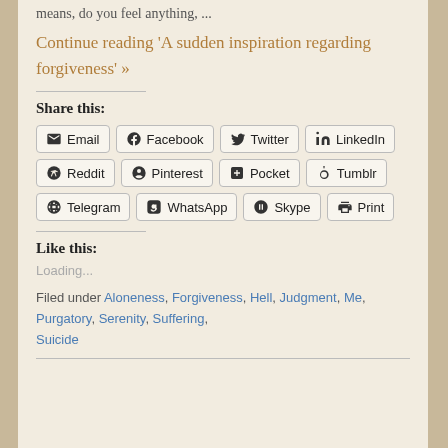means, do you feel anything, ...
Continue reading 'A sudden inspiration regarding forgiveness' »
Share this:
Email, Facebook, Twitter, LinkedIn, Reddit, Pinterest, Pocket, Tumblr, Telegram, WhatsApp, Skype, Print
Like this:
Loading...
Filed under Aloneness, Forgiveness, Hell, Judgment, Me, Purgatory, Serenity, Suffering, Suicide